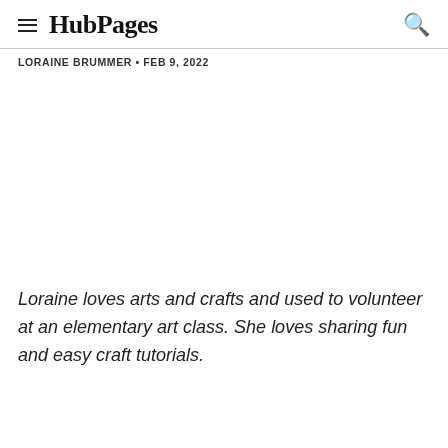HubPages
LORAINE BRUMMER • FEB 9, 2022
Loraine loves arts and crafts and used to volunteer at an elementary art class. She loves sharing fun and easy craft tutorials.